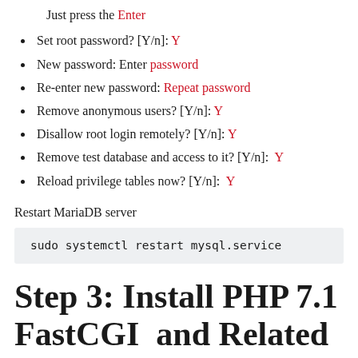Just press the Enter
Set root password? [Y/n]: Y
New password: Enter password
Re-enter new password: Repeat password
Remove anonymous users? [Y/n]: Y
Disallow root login remotely? [Y/n]: Y
Remove test database and access to it? [Y/n]:  Y
Reload privilege tables now? [Y/n]:  Y
Restart MariaDB server
sudo systemctl restart mysql.service
Step 3: Install PHP 7.1 FastCGI  and Related Modules